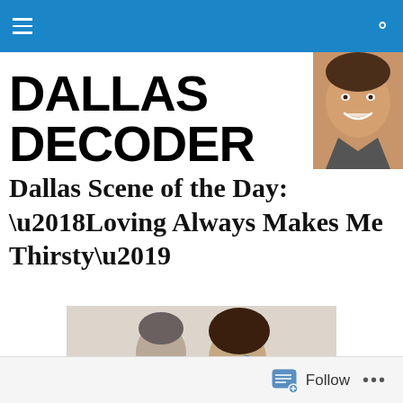Dallas Decoder — navigation bar with hamburger menu and search icon
DALLAS DECODER
[Figure (photo): Smiling man's face in upper-right corner, partly cropped]
Dallas Scene of the Day: ‘Loving Always Makes Me Thirsty’
[Figure (photo): A man and woman lying together, photographed in a vintage style, black-and-white tones]
Follow  ...